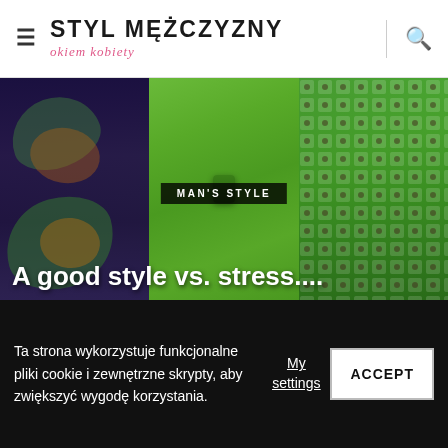STYL MĘŻCZYZNY okiem kobiety
[Figure (photo): Close-up photo of green silk bow tie with paisley patterned fabric on the left and a green dotted/geometric patterned fabric on the right, all on a dark background.]
MAN'S STYLE
A good style vs. stress....
Ta strona wykorzystuje funkcjonalne pliki cookie i zewnętrzne skrypty, aby zwiększyć wygodę korzystania.
My settings
ACCEPT